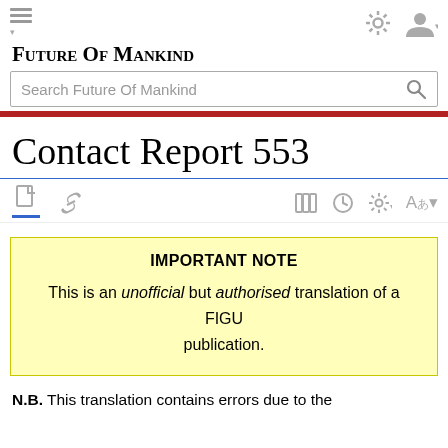Future Of Mankind
Contact Report 553
IMPORTANT NOTE
This is an unofficial but authorised translation of a FIGU publication.
N.B. This translation contains errors due to the